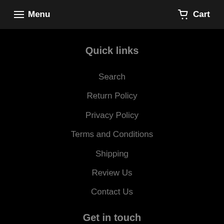Menu   Cart
Quick links
Search
Return Policy
Privacy Policy
Terms and Conditions
Shipping
Review Us
Contact Us
Get in touch
Call 814-217-9867
Monday - Friday